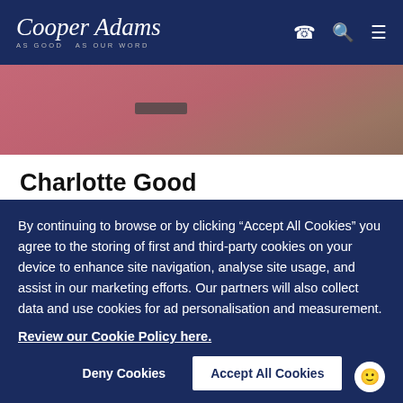Cooper Adams — AS GOOD AS OUR WORD
[Figure (photo): Close-up photo of person wearing pink jacket with a dark name badge/brooch]
Charlotte Good
Angmering Administrator
I started my career as a Lettings negotiator in Esher
By continuing to browse or by clicking “Accept All Cookies” you agree to the storing of first and third-party cookies on your device to enhance site navigation, analyse site usage, and assist in our marketing efforts. Our partners will also collect data and use cookies for ad personalisation and measurement.
Review our Cookie Policy here.
Deny Cookies   Accept All Cookies